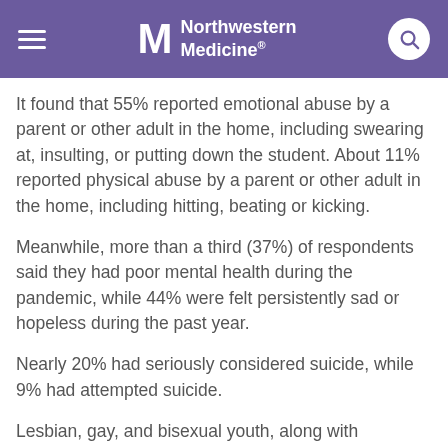Northwestern Medicine
It found that 55% reported emotional abuse by a parent or other adult in the home, including swearing at, insulting, or putting down the student. About 11% reported physical abuse by a parent or other adult in the home, including hitting, beating or kicking.
Meanwhile, more than a third (37%) of respondents said they had poor mental health during the pandemic, while 44% were felt persistently sad or hopeless during the past year.
Nearly 20% had seriously considered suicide, while 9% had attempted suicide.
Lesbian, gay, and bisexual youth, along with